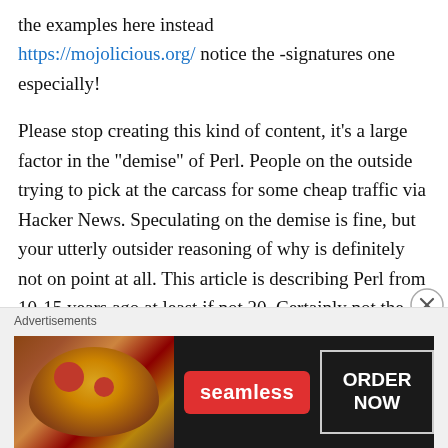the examples here instead https://mojolicious.org/ notice the -signatures one especially!
Please stop creating this kind of content, it's a large factor in the “demise” of Perl. People on the outside trying to pick at the carcass for some cheap traffic via Hacker News. Speculating on the demise is fine, but your utterly outsider reasoning of why is definitely not on point at all. This article is describing Perl from 10-15 years ago at least if not 20. Certainly not the kind of Perl a software engineer in a startup is
Advertisements
[Figure (other): Seamless food delivery advertisement banner showing pizza image on left, Seamless logo in red center, and ORDER NOW button on right with white border on dark background]